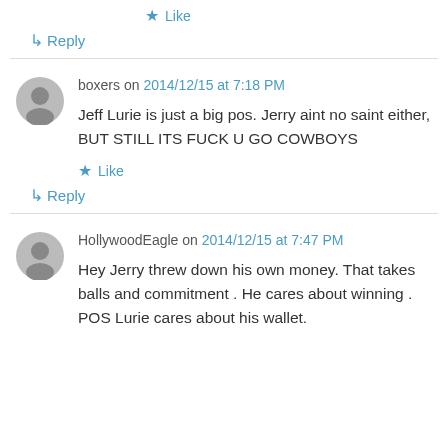Like
Reply
boxers on 2014/12/15 at 7:18 PM
Jeff Lurie is just a big pos. Jerry aint no saint either, BUT STILL ITS FUCK U GO COWBOYS
Like
Reply
HollywoodEagle on 2014/12/15 at 7:47 PM
Hey Jerry threw down his own money. That takes balls and commitment . He cares about winning . POS Lurie cares about his wallet.